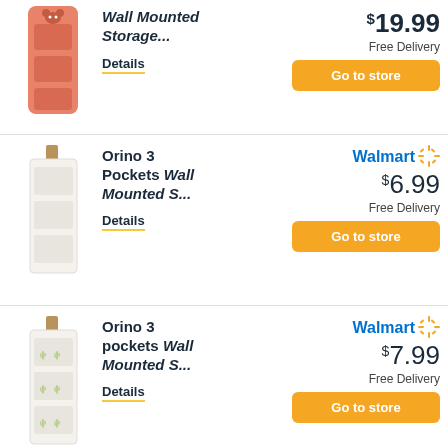[Figure (photo): Pink/salmon colored wall mounted storage organizer with bear face design, 3 pockets]
Wall Mounted Storage...
Details
$ 19.99
Free Delivery
Go to store
[Figure (photo): White fabric wall mounted storage organizer with 3 pockets and wooden dowel top]
Orino 3 Pockets Wall Mounted S...
Details
Walmart
$ 6.99
Free Delivery
Go to store
[Figure (photo): White fabric wall mounted storage organizer with 3 pockets and cactus print design, wooden dowel top]
Orino 3 pockets Wall Mounted S...
Details
Walmart
$ 7.99
Free Delivery
Go to store